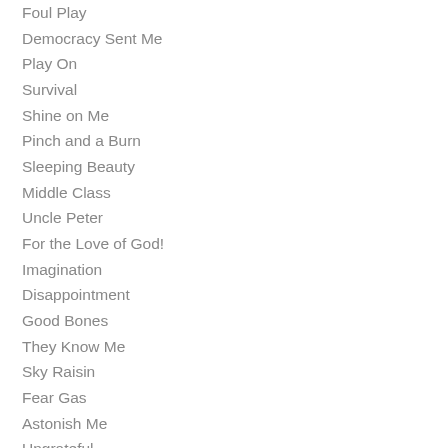Foul Play
Democracy Sent Me
Play On
Survival
Shine on Me
Pinch and a Burn
Sleeping Beauty
Middle Class
Uncle Peter
For the Love of God!
Imagination
Disappointment
Good Bones
They Know Me
Sky Raisin
Fear Gas
Astonish Me
Ungrateful
Endangered Species
A Beer is a Beer